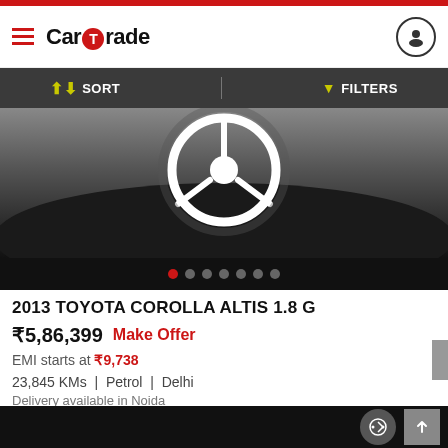CarTrade
SORT   FILTERS
[Figure (photo): Close-up photo of a white steering wheel on a dark/grey Toyota car dashboard, viewed from above]
2013 TOYOTA COROLLA ALTIS 1.8 G
₹5,86,399  Make Offer
EMI starts at ₹9,738
23,845 KMs  |  Petrol  |  Delhi
Delivery available in Noida
CHAT   CONTACT SELLER